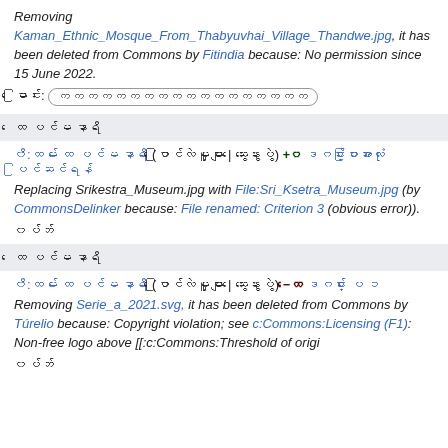Removing Kaman_Ethnic_Mosque_From_Thabyuvhai_Village_Thandwe.jpg, it has been deleted from Commons by Fitindia because: No permission since 15 June 2022.
မြောင်း: [input field]
၁၀ ပင်မ နာရီ
ဝီ:တမ် ၁၀ ပင်မ နာရီ (ပြောင်းလဲမှုများ | ဆွေးနွေးပွဲ) +၀ ဒင်္ဂါးပြားအားလုံးပြင်ဆင်ရန်
Replacing Srikestra_Museum.jpg with File:Sri_Ksetra_Museum.jpg (by CommonsDelinker because: File renamed: Criterion 3 (obvious error)).
ဝပ်ဘ်
၁၀ ပင်မ နာရီ
ဝီ:တမ် ၁၀ ပင်မ နာရီ (ပြောင်းလဲမှုများ | ဆွေးနွေးပွဲ) −၀၀ ဒင်္ဂါး ပေ ၆
Removing Serie_a_2021.svg, it has been deleted from Commons by Túrelio because: Copyright violation; see c:Commons:Licensing (F1): Non-free logo above [[:c:Commons:Threshold of origi
ဝပ်ဘ်